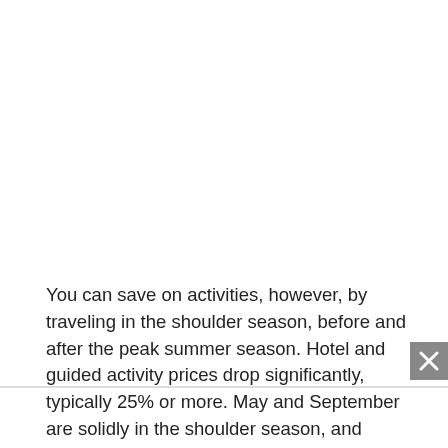You can save on activities, however, by traveling in the shoulder season, before and after the peak summer season. Hotel and guided activity prices drop significantly, typically 25% or more. May and September are solidly in the shoulder season, and sometimes you get bargains as late as June 15 or as early as August 15. Traveling in the winter is a whole different experience but certainly saves a lot of money – where hotels are open...